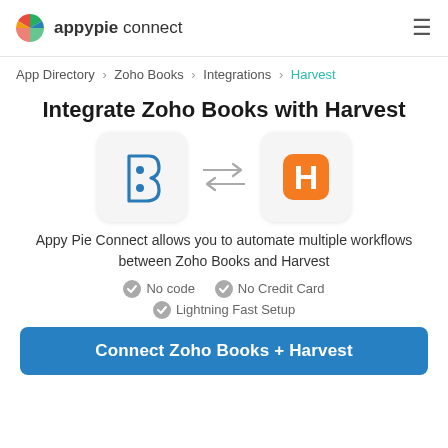appypie connect
App Directory > Zoho Books > Integrations > Harvest
Integrate Zoho Books with Harvest
[Figure (illustration): Zoho Books logo icon (blue B shape) and Harvest logo icon (orange H) with bidirectional arrows between them]
Appy Pie Connect allows you to automate multiple workflows between Zoho Books and Harvest
No code
No Credit Card
Lightning Fast Setup
Connect Zoho Books + Harvest